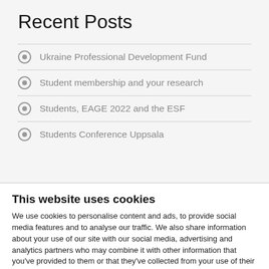Recent Posts
Ukraine Professional Development Fund
Student membership and your research
Students, EAGE 2022 and the ESF
Students Conference Uppsala
This website uses cookies
We use cookies to personalise content and ads, to provide social media features and to analyse our traffic. We also share information about your use of our site with our social media, advertising and analytics partners who may combine it with other information that you've provided to them or that they've collected from your use of their services. You consent to our cookies if you continue to use our website.
Use necessary cookies only
Allow all cookies
Show details